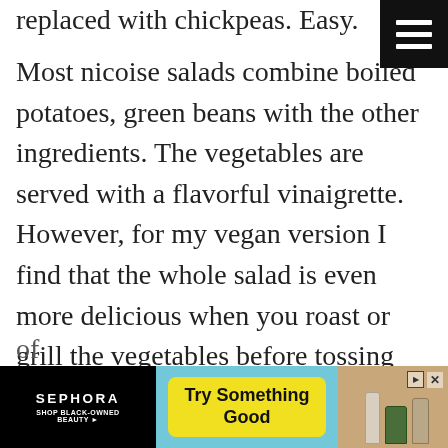replaced with chickpeas. Easy.
Most nicoise salads combine boiled potatoes, green beans with the other ingredients. The vegetables are served with a flavorful vinaigrette. However, for my vegan version I find that the whole salad is even more delicious when you roast or grill the vegetables before tossing with the dressing. Roast the vegetables while you're working on the other ingredients so that everything is ready to go at the same time. This salad is also great for meal prep. Since it contains lots of cooked ingredients you won't have to worry about your lettuce getting soggy. Speaking of le... d
[Figure (screenshot): Sephora advertisement banner: black section on left with SEPHORA logo and SHOP BLACK-OWNED BEAUTY text, light blue middle section with yellow 'Try Something Good' button, and right section showing product bottles on brown/tan background with play and close buttons.]